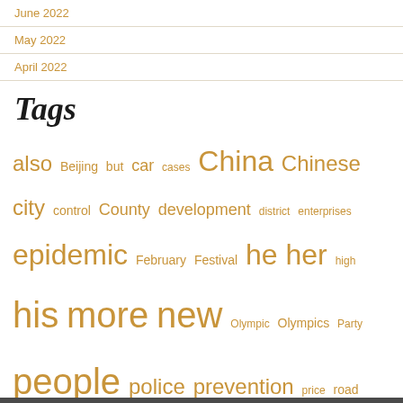June 2022
May 2022
April 2022
Tags
also Beijing but car cases China Chinese city control County development district enterprises epidemic February Festival he her high his more new Olympic Olympics Party people police prevention price road school she snow Spring students team their time very was will Winter work year yuan